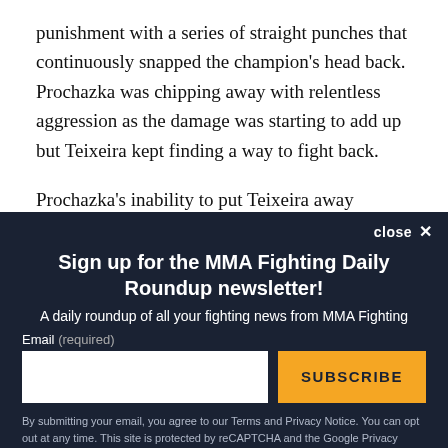punishment with a series of straight punches that continuously snapped the champion's head back. Prochazka was chipping away with relentless aggression as the damage was starting to add up but Teixeira kept finding a way to fight back.
Prochazka's inability to put Teixeira away continued to
close ✕
Sign up for the MMA Fighting Daily Roundup newsletter!
A daily roundup of all your fighting news from MMA Fighting
Email (required)
SUBSCRIBE
By submitting your email, you agree to our Terms and Privacy Notice. You can opt out at any time. This site is protected by reCAPTCHA and the Google Privacy Policy and Terms of Service apply.